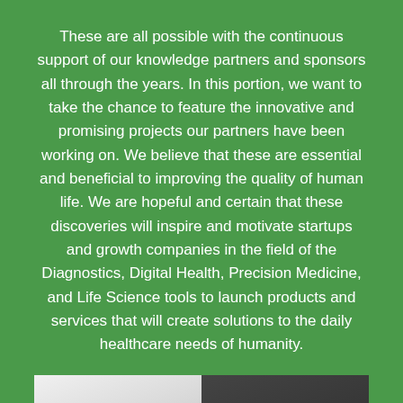These are all possible with the continuous support of our knowledge partners and sponsors all through the years. In this portion, we want to take the chance to feature the innovative and promising projects our partners have been working on. We believe that these are essential and beneficial to improving the quality of human life. We are hopeful and certain that these discoveries will inspire and motivate startups and growth companies in the field of the Diagnostics, Digital Health, Precision Medicine, and Life Science tools to launch products and services that will create solutions to the daily healthcare needs of humanity.
[Figure (photo): A partial photo showing two people, one in light clothing on the left and one in dark clothing on the right, cropped to show torso area only.]